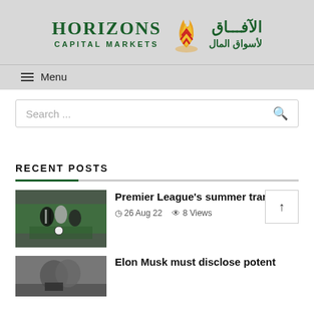[Figure (logo): Horizons Capital Markets logo with Arabic text and flame/arrows icon]
Menu
Search ...
RECENT POSTS
Premier League's summer tran | 26 Aug 22 | 8 Views
Elon Musk must disclose potent